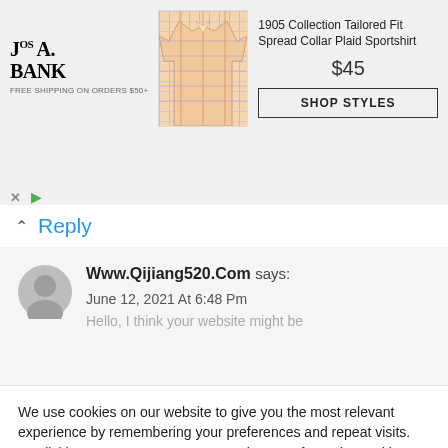[Figure (screenshot): Jos. A. Bank advertisement banner showing a plaid sportshirt, price $45, and a Shop Styles button]
Reply
[Figure (illustration): Gray default user avatar circle silhouette]
Www.Qijiang520.Com says:
June 12, 2021 At 6:48 Pm
Hello, I think your website might be
We use cookies on our website to give you the most relevant experience by remembering your preferences and repeat visits. By clicking “Accept”, you consent to the use of ALL the cookies.
Cookie Settings
ACCEPT